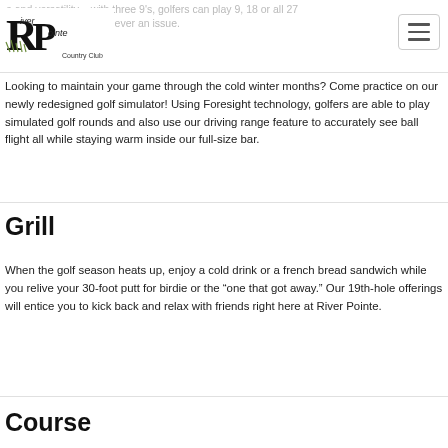and versatility – with three 9's, golfers can play 9, 18 or all 27 getting a tee time is never an issue.
[Figure (logo): River Pointe Country Club logo with stylized R and P letters and grass/water imagery]
Looking to maintain your game through the cold winter months? Come practice on our newly redesigned golf simulator! Using Foresight technology, golfers are able to play simulated golf rounds and also use our driving range feature to accurately see ball flight all while staying warm inside our full-size bar.
Grill
When the golf season heats up, enjoy a cold drink or a french bread sandwich while you relive your 30-foot putt for birdie or the “one that got away.” Our 19th-hole offerings will entice you to kick back and relax with friends right here at River Pointe.
Course